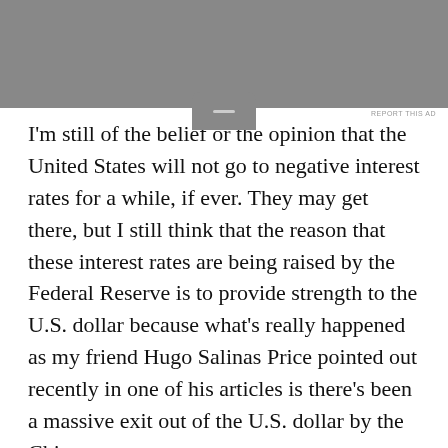[Figure (other): Gray advertisement banner at top of page with a rounded tab/handle at the bottom center and a 'REPORT THIS AD' label at top right]
I'm still of the belief or the opinion that the United States will not go to negative interest rates for a while, if ever. They may get there, but I still think that the reason that these interest rates are being raised by the Federal Reserve is to provide strength to the U.S. dollar because what's really happened as my friend Hugo Salinas Price pointed out recently in one of his articles is there's been a massive exit out of the U.S. dollar by the Chinese,
Privacy & Cookies: This site uses cookies. By continuing to use this website, you agree to their use.
To find out more, including how to control cookies, see here: Cookie Policy
Close and accept
and interest rates is the price of money. So it certainly